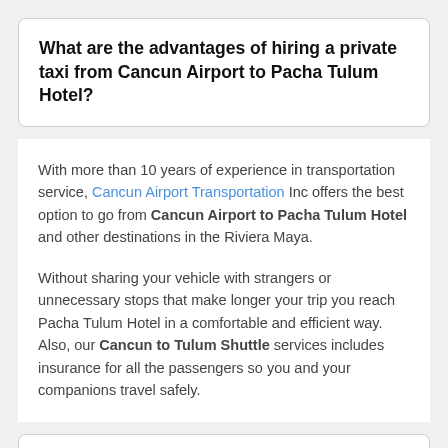What are the advantages of hiring a private taxi from Cancun Airport to Pacha Tulum Hotel?
With more than 10 years of experience in transportation service, Cancun Airport Transportation Inc offers the best option to go from Cancun Airport to Pacha Tulum Hotel and other destinations in the Riviera Maya.
Without sharing your vehicle with strangers or unnecessary stops that make longer your trip you reach Pacha Tulum Hotel in a comfortable and efficient way. Also, our Cancun to Tulum Shuttle services includes insurance for all the passengers so you and your companions travel safely.